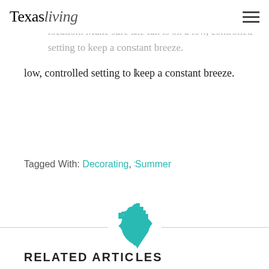Texas living (logo) with hamburger menu
Set up a large, stationary fan in one central location. Make sure the fan is on a low, controlled setting to keep a constant breeze.
Tagged With: Decorating, Summer
[Figure (illustration): Horizontal divider lines with a teal Texas state silhouette icon centered between them]
RELATED ARTICLES